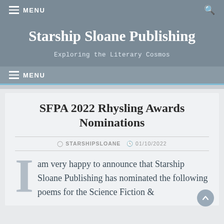≡ MENU
Starship Sloane Publishing
Exploring the Literary Cosmos
≡ MENU
SFPA 2022 Rhysling Awards Nominations
STARSHIPSLOANE  01/10/2022
I am very happy to announce that Starship Sloane Publishing has nominated the following poems for the Science Fiction &